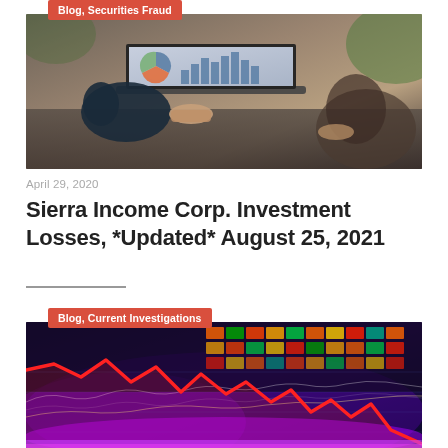[Figure (photo): Two people at a desk with a laptop displaying financial charts and graphs, business meeting scene]
Blog, Securities Fraud
April 29, 2020
Sierra Income Corp. Investment Losses, *Updated* August 25, 2021
Blog, Current Investigations
[Figure (photo): Stock market graph with red declining line chart overlaid on colorful financial data display board with dramatic red downward trend]